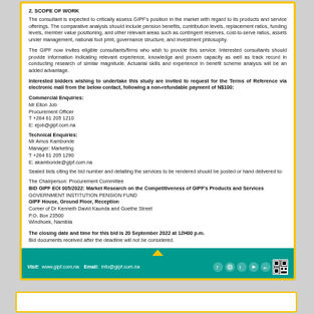2. SCOPE OF WORK
The consultant is expected to critically assess GIPF's position in the market with regard to its products and service offerings. The comparative analysis should include pension benefits, contribution levels, replacement ratios, funding levels, member value positioning, and other relevant areas such as contingent reserves, cost-to-serve ratios, assets under management, national foot print, governance structure, and investment philosophy.
The GIPF now invites eligible consultants/firms who wish to provide this service. Interested consultants should provide information indicating relevant experience, knowledge and proven capacity as well as track record in conducting research of similar magnitude. Actuarial skills and experience in benefit scheme analysis will be an added advantage.
Interested bidders wishing to undertake this study are invited to request for the Terms of Reference via electronic mail from the below contact, following a non-refundable payment of N$100:
Commercial Enquiries:
Mr Elton Job
Procurement Officer
T +264 61 205 1210
E: ejob@gipf.com.na
Technical Enquiries:
Mr Amos Kambonde
Manager: Marketing
T +264 61 205 1290
E: akambonde@gipf.com.na
Sealed bids citing the bid number and detailing the services to be rendered should be posted or hand delivered to:
The Chairperson: Procurement Committee
BID GIPF EOI 005/2022: Market Research on the Competitiveness of GIPF's Products and Services
GOVERNMENT INSTITUTION PENSION FUND
GIPF House, Ground Floor, Reception
Corner of Dr Kenneth David Kaunda and Goethe Street
P.O. Box 23500
Windhoek, Namibia
The closing date and time for this bid is 20 September 2022 at 12H00 p.m.
Bid documents received after the deadline will not be considered.
Visit: www.gipf.com.na  Email: info@gipf.com.na